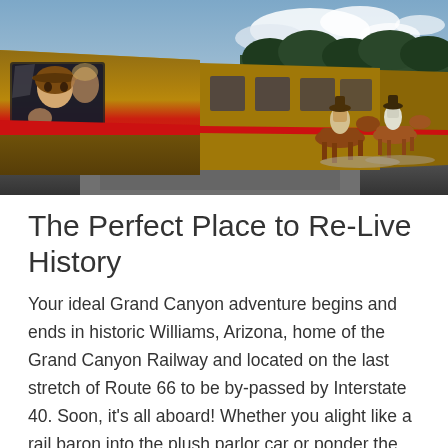[Figure (photo): A scenic photo of the Grand Canyon Railway train with a child in cowboy hat looking out the window on the left, and riders on horseback galloping alongside the track on the right against a backdrop of trees and cloudy sky.]
The Perfect Place to Re-Live History
Your ideal Grand Canyon adventure begins and ends in historic Williams, Arizona, home of the Grand Canyon Railway and located on the last stretch of Route 66 to be by-passed by Interstate 40. Soon, it's all aboard! Whether you alight like a rail baron into the plush parlor car or ponder the